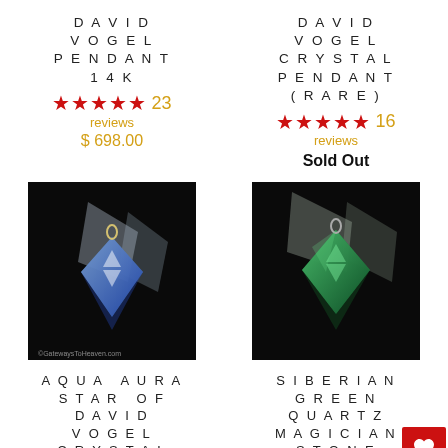DAVID VOGEL PENDANT 14K
★★★★★ 23 reviews $ 698.00
DAVID VOGEL CRYSTAL PENDANT (RARE)
★★★★★ 16 reviews Sold Out
[Figure (photo): Blue aqua aura Star of David Vogel crystal pendant on dark background with clear quartz crystals]
[Figure (photo): Emerald green Siberian quartz magician stone pendant on dark background with clear quartz crystals]
AQUA AURA STAR OF DAVID VOGEL CRYSTAL PENDANT
SIBERIAN GREEN QUARTZ MAGICIAN STONE PENDANT